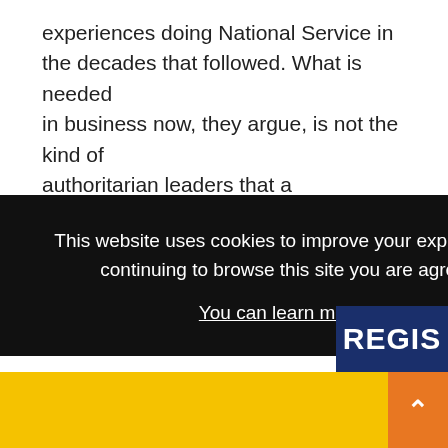experiences doing National Service in the decades that followed. What is needed in business now, they argue, is not the kind of authoritarian leaders that a military training produces, so much as ‘enablers’.
But, as a recent article in the Harvard Business Review
This website uses cookies to improve your experience and for ads personalisation. By continuing to browse this site you are agreeing to our use of these cookies. You can learn more about the cookies we use here.
OK